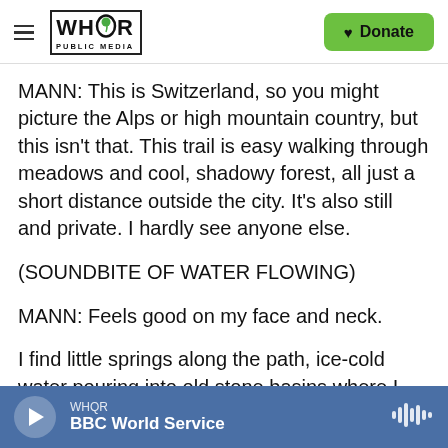WHQR PUBLIC MEDIA | Donate
MANN: This is Switzerland, so you might picture the Alps or high mountain country, but this isn't that. This trail is easy walking through meadows and cool, shadowy forest, all just a short distance outside the city. It's also still and private. I hardly see anyone else.
(SOUNDBITE OF WATER FLOWING)
MANN: Feels good on my face and neck.
I find little springs along the path, ice-cold water pouring into old stone basins where I can splash my
WHQR | BBC World Service